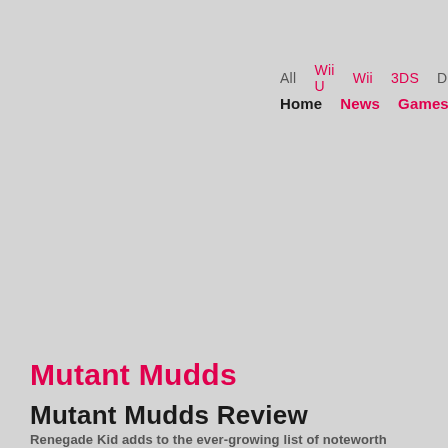All  Wii U  Wii  3DS  DS
Home  News  Games  R
Mutant Mudds
Mutant Mudds Review
Renegade Kid adds to the ever-growing list of noteworth